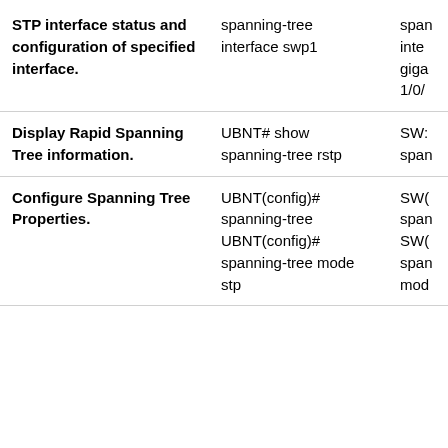| Description | UBNT CLI | Vendor CLI |
| --- | --- | --- |
| STP interface status and configuration of specified interface. | spanning-tree interface swp1 | inte
giga
1/0/ |
| Display Rapid Spanning Tree information. | UBNT# show spanning-tree rstp | SW:
span |
| Configure Spanning Tree Properties. | UBNT(config)# spanning-tree UBNT(config)# spanning-tree mode stp | SW(
span
SW(
span
mod |